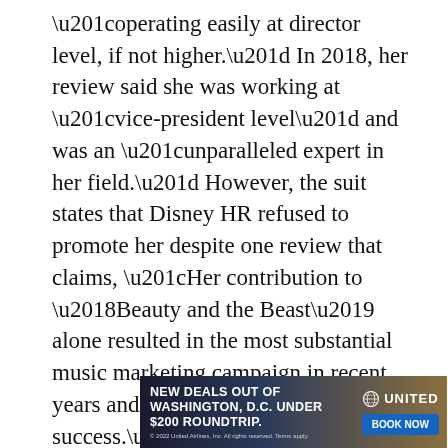“operating easily at director level, if not higher.” In 2018, her review said she was working at “vice-president level” and was an “unparalleled expert in her field.” However, the suit states that Disney HR refused to promote her despite one review that claims, “Her contribution to ‘Beauty and the Beast’ alone resulted in the most substantial music marketing campaign in recent years and yielded global success.”
[Figure (other): United Airlines advertisement banner: 'NEW DEALS OUT OF WASHINGTON, D.C. UNDER $200 ROUNDTRIP.' with a BOOK NOW button and United logo with globe icon. Fine print: © 2022 United Airlines, Inc. All rights reserved. Terms apply.]